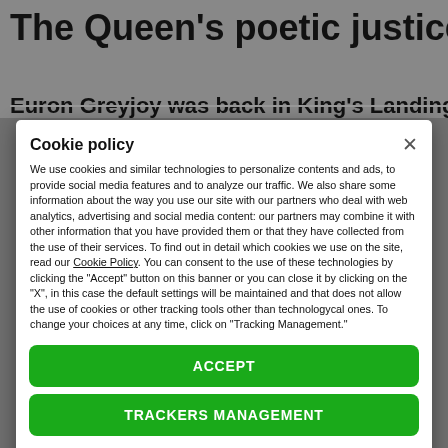The Queen’s poetic justice
Euron Greyjoy was back in King’s Landing
Cookie policy
We use cookies and similar technologies to personalize contents and ads, to provide social media features and to analyze our traffic. We also share some information about the way you use our site with our partners who deal with web analytics, advertising and social media content: our partners may combine it with other information that you have provided them or that they have collected from the use of their services. To find out in detail which cookies we use on the site, read our Cookie Policy. You can consent to the use of these technologies by clicking the "Accept" button on this banner or you can close it by clicking on the "X", in this case the default settings will be maintained and that does not allow the use of cookies or other tracking tools other than technologycal ones. To change your choices at any time, click on “Tracking Management.”
ACCEPT
TRACKERS MANAGEMENT
Show vendors | Show purposes